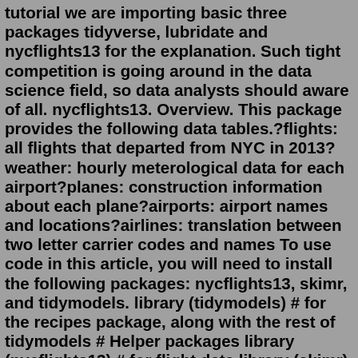tutorial we are importing basic three packages tidyverse, lubridate and nycflights13 for the explanation. Such tight competition is going around in the data science field, so data analysts should aware of all. nycflights13. Overview. This package provides the following data tables.?flights: all flights that departed from NYC in 2013?weather: hourly meterological data for each airport?planes: construction information about each plane?airports: airport names and locations?airlines: translation between two letter carrier codes and names To use code in this article, you will need to install the following packages: nycflights13, skimr, and tidymodels. library (tidymodels) # for the recipes package, along with the rest of tidymodels # Helper packages library (nycflights13) # for flight data library (skimr) # for variable summaries Apr 18, 2015 · nycflights13: Dataset with flights departing from NYC in 2013. dplyr: package for manipulating datasets. maps: package for mapping. geosphere: package for spherical trigonometry. Make sure to install and load